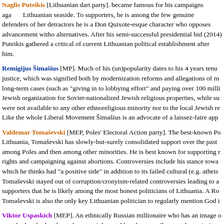Naglis Puteikis [Lithuanian dart party]. became famous for his campaigns against... Lithuanian seaside. To supporters, he is among the few genuine defenders of her... detractors he is a Don Quixote-esque character who opposes advancement witho... alternatives. After his semi-successful presidential bid (2014) Puteikis gathered a... critical of current Lithuanian political establishment after him.
Remigijus Šimašius [MP]. Much of his (un)popularity dates to his 4 years tenu... justice, which was signified both by modernization reforms and allegations of m... long-term cases (such as "giving in to lobbying effort" and paying over 100 mill... Jewish organization for Soviet-nationalized Jewish religious properties, while su... were not available to any other ethnoreligious minority nor to the local Jewish re... Like the whole Liberal Movement Šimašius is an advocate of a laissez-faire app...
Valdemar Tomaševski [MEP, Poles' Electoral Action party]. The best-known Po... Lithuania, Tomaševski has slowly-but-surely consolidated support over the past... among Poles and then among other minorities. He is best known for supporting r... rights and campaigning against abortions. Controversies include his stance towa... which he thinks had "a positive side" in addition to its failed cultural (e.g. atheis... Tomaševski stayed out of corruption/cronyism-related controversies leading to a... supporters that he is likely among the most honest politicians of Lithuania. A Ro... Tomaševski is also the only key Lithuanian politician to regularly mention God i...
Viktor Uspaskich [MEP]. An ethnically Russian millionaire who has an image o... somebody who laughs at the same jokes and has the same flaws as the majority o... intellectuals are less likely to support Uspaskich: some see him as an "uncultured... others question whether he is loyal to Lithuania or Russia. Uspaskich has his ow... (Labour) which has been charged by authorities for accountancy fraud (allegatio... supporters claim are fabricated by the conventional parties to dislodge him from...